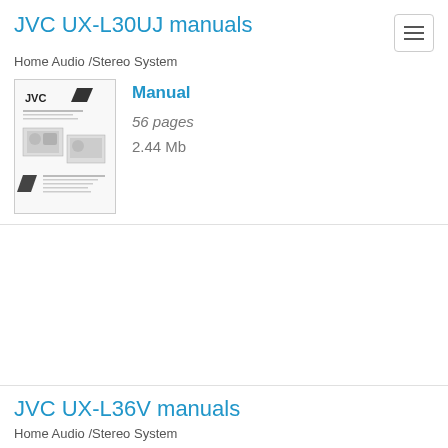JVC UX-L30UJ manuals
Home Audio /Stereo System
[Figure (screenshot): Thumbnail image of JVC UX-L30UJ manual cover page showing JVC logo and stereo system diagrams]
Manual
56 pages
2.44 Mb
JVC UX-L36V manuals
Home Audio /Stereo System
Manual